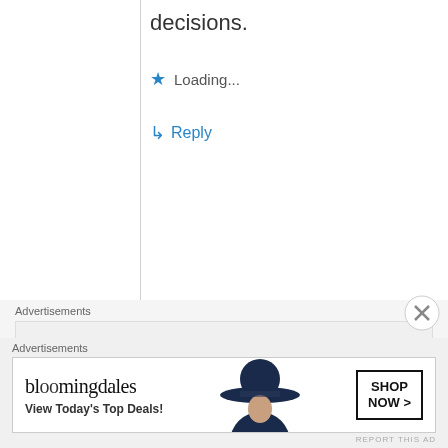decisions.
Loading...
Reply
Advertisements
[Figure (screenshot): P2 advertisement: logo with 'P2' text and box icon, tagline 'Getting your team on the same page is easy. And free.']
REPORT THIS AD
Michael
June 7, 2014 at 10:40 am
Advertisements
[Figure (screenshot): Bloomingdale's advertisement: logo, 'View Today's Top Deals!', woman with hat, 'SHOP NOW >' button]
REPORT THIS AD